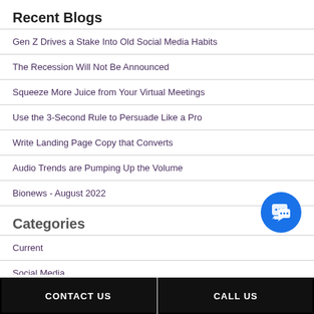Recent Blogs
Gen Z Drives a Stake Into Old Social Media Habits
The Recession Will Not Be Announced
Squeeze More Juice from Your Virtual Meetings
Use the 3-Second Rule to Persuade Like a Pro
Write Landing Page Copy that Converts
Audio Trends are Pumping Up the Volume
Bionews - August 2022
Categories
Current
Social Media
Web Dev
[Figure (illustration): Blue circular chat bubble icon with speech bubble dots]
CONTACT US   CALL US